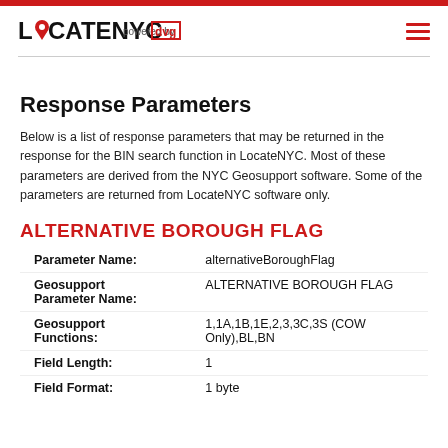LOCATENYC powered by [dvg]
Response Parameters
Below is a list of response parameters that may be returned in the response for the BIN search function in LocateNYC. Most of these parameters are derived from the NYC Geosupport software. Some of the parameters are returned from LocateNYC software only.
ALTERNATIVE BOROUGH FLAG
| Parameter Name: | Geosupport Parameter Name: | Geosupport Functions: | Field Length: | Field Format: |
| --- | --- | --- | --- | --- |
| alternativeBoroughFlag |  |
| ALTERNATIVE BOROUGH FLAG |  |
| 1,1A,1B,1E,2,3,3C,3S (COW Only),BL,BN |  |
| 1 |  |
| 1 byte |  |